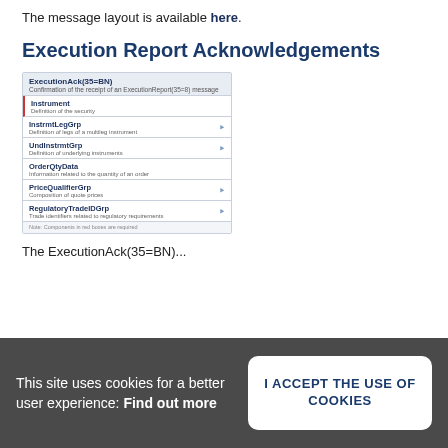The message layout is available here.
Execution Report Acknowledgements
[Figure (schematic): Diagram of ExecutionAck(35=BN) message structure showing components: Instrument (Definition of the security, red border indicating required), InstrmtLegGrp (Definition of legs of a multileg instrument), UndInstrmtGrp (Definition of underlying instruments), OrderQtyData (Information related to the quantity of an order), PriceQualifierGrp (Composition of quote prices), RegulatoryTradeIDGrp (Trade identifiers related to regulatory requirements). Note: Components in red boxes are required.]
The ExecutionAck(35=BN)...
This site uses cookies for a better user experience: Find out more
I ACCEPT THE USE OF COOKIES